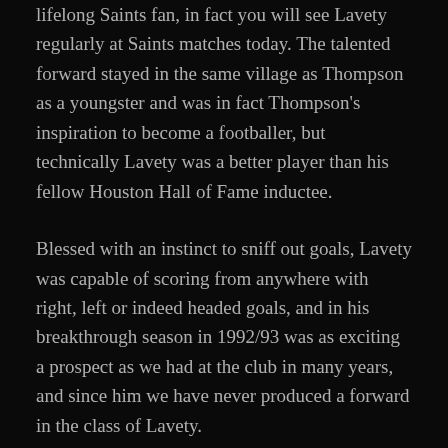lifelong Saints fan, in fact you will see Lavety regularly at Saints matches today. The talented forward stayed in the same village as Thompson as a youngster and was in fact Thompson's inspiration to become a footballer, but technically Lavety was a better player than his fellow Houston Hall of Fame inductee.
Blessed with an instinct to sniff out goals, Lavety was capable of scoring from anywhere with right, left or indeed headed goals, and in his breakthrough season in 1992/93 was as exciting a prospect as we had at the club in many years, and since him we have never produced a forward in the class of Lavety.
The big striker had some off field issues, but the goals flowed when he played in black and white, particularly